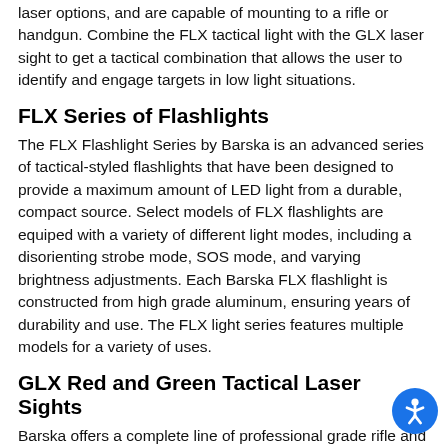laser options, and are capable of mounting to a rifle or handgun. Combine the FLX tactical light with the GLX laser sight to get a tactical combination that allows the user to identify and engage targets in low light situations.
FLX Series of Flashlights
The FLX Flashlight Series by Barska is an advanced series of tactical-styled flashlights that have been designed to provide a maximum amount of LED light from a durable, compact source. Select models of FLX flashlights are equiped with a variety of different light modes, including a disorienting strobe mode, SOS mode, and varying brightness adjustments. Each Barska FLX flashlight is constructed from high grade aluminum, ensuring years of durability and use. The FLX light series features multiple models for a variety of uses.
GLX Red and Green Tactical Laser Sights
Barska offers a complete line of professional grade rifle and handgun lasers that are ideal for quick target acquisition. Each red and green Barska laser is outfitted with a standard Picatinny/Weaver-style mount that is